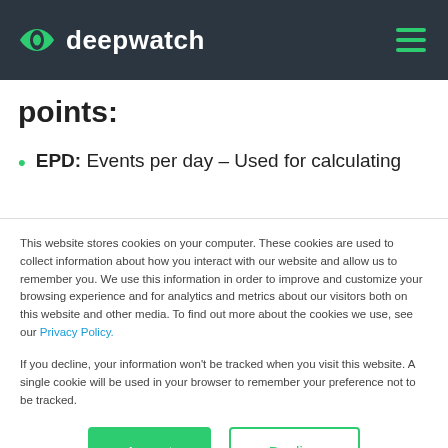deepwatch
points:
EPD: Events per day – Used for calculating
This website stores cookies on your computer. These cookies are used to collect information about how you interact with our website and allow us to remember you. We use this information in order to improve and customize your browsing experience and for analytics and metrics about our visitors both on this website and other media. To find out more about the cookies we use, see our Privacy Policy.
If you decline, your information won't be tracked when you visit this website. A single cookie will be used in your browser to remember your preference not to be tracked.